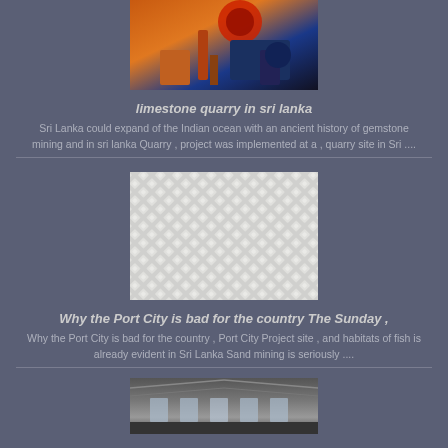[Figure (photo): Industrial mining/quarry machinery with orange and black equipment]
limestone quarry in sri lanka
Sri Lanka could expand of the Indian ocean with an ancient history of gemstone mining and in sri lanka Quarry , project was implemented at a , quarry site in Sri ....
[Figure (photo): Close-up of white metal mesh/screen material with diamond pattern]
Why the Port City is bad for the country The Sunday ,
Why the Port City is bad for the country , Port City Project site , and habitats of fish is already evident in Sri Lanka Sand mining is seriously ....
[Figure (photo): Interior of industrial warehouse/factory building with steel structure roof]